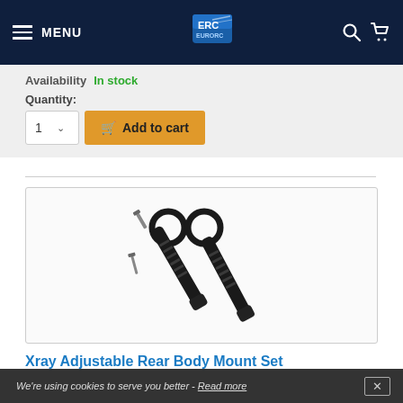MENU | EuroRC logo | Search | Cart
Availability  In stock
Quantity:
1  ∨  Add to cart
[Figure (photo): Product photo showing Xray Adjustable Rear Body Mount Set (+1mm) components: two black cylindrical posts with ridged grip ends, two black C-clip rings, and two small screws, arranged on a white background.]
Xray Adjustable Rear Body Mount Set (+1mm)
We're using cookies to serve you better - Read more  ✕